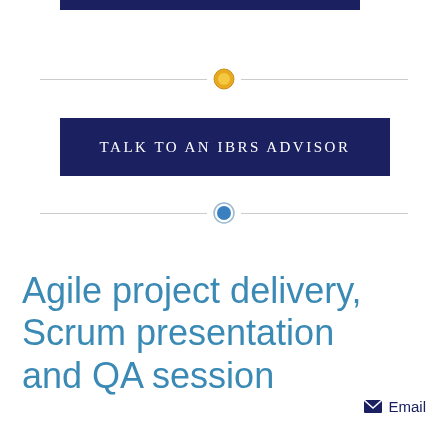[Figure (other): Dark navy blue horizontal bar at top of page (partially cropped)]
[Figure (other): Horizontal divider line with a gold/yellow filled circle in the center]
TALK TO AN IBRS ADVISOR
[Figure (other): Horizontal divider line with a blue outlined circle (ring) in the center]
Agile project delivery, Scrum presentation and QA session
✉ Email